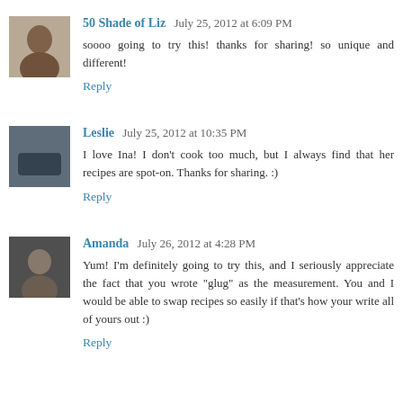[Figure (photo): Avatar photo of 50 Shade of Liz commenter]
50 Shade of Liz  July 25, 2012 at 6:09 PM
soooo going to try this! thanks for sharing! so unique and different!
Reply
[Figure (photo): Avatar photo of Leslie commenter]
Leslie  July 25, 2012 at 10:35 PM
I love Ina! I don't cook too much, but I always find that her recipes are spot-on. Thanks for sharing. :)
Reply
[Figure (photo): Avatar photo of Amanda commenter]
Amanda  July 26, 2012 at 4:28 PM
Yum! I'm definitely going to try this, and I seriously appreciate the fact that you wrote "glug" as the measurement. You and I would be able to swap recipes so easily if that's how your write all of yours out :)
Reply